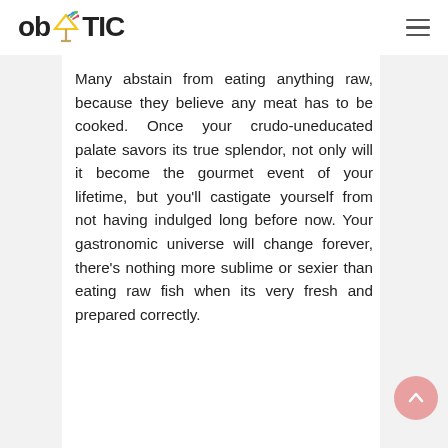ob TIC
Many abstain from eating anything raw, because they believe any meat has to be cooked. Once your crudo-uneducated palate savors its true splendor, not only will it become the gourmet event of your lifetime, but you'll castigate yourself from not having indulged long before now. Your gastronomic universe will change forever, there's nothing more sublime or sexier than eating raw fish when its very fresh and prepared correctly.